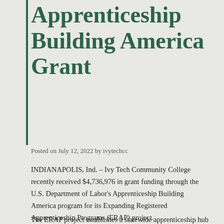Apprenticeship Building America Grant
Posted on July 12, 2022 by ivytechcc
INDIANAPOLIS, Ind. – Ivy Tech Community College recently received $4,736,976 in grant funding through the U.S. Department of Labor's Apprenticeship Building America program for its Expanding Registered Apprenticeship Programs (ERAP) project.
The ERAP project establishes a statewide apprenticeship hub to promote apprenticeship as a viable, postsecondary education-to-career option and expand employer use of apprenticeship as a recruitment, training, and retention strategy. The project will support registered apprenticeship program development and expansion in industries and occupations in the critical supply chain for electric